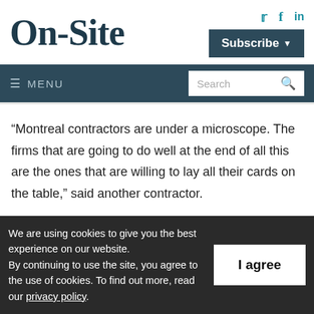On-Site
Subscribe · Twitter · Facebook · LinkedIn
☰ MENU  Search
“Montreal contractors are under a microscope. The firms that are going to do well at the end of all this are the ones that are willing to lay all their cards on the table,” said another contractor.
Conspiracy theories aside, the events of August 5th are a reminder to
We are using cookies to give you the best experience on our website. By continuing to use the site, you agree to the use of cookies. To find out more, read our privacy policy.